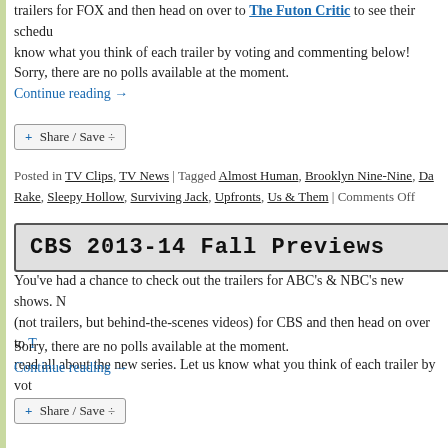trailers for FOX and then head on over to The Futon Critic to see their schedule and read all about the new series. Let us know what you think of each trailer by voting and commenting below!
Sorry, there are no polls available at the moment.
Continue reading →
[Figure (other): Share / Save button widget]
Posted in TV Clips, TV News | Tagged Almost Human, Brooklyn Nine-Nine, Da... Rake, Sleepy Hollow, Surviving Jack, Upfronts, Us & Them | Comments Off
CBS 2013-14 Fall Previews
You've had a chance to check out the trailers for ABC's & NBC's new shows. N... (not trailers, but behind-the-scenes videos) for CBS and then head on over to T... read all about the new series. Let us know what you think of each trailer by vot...
Sorry, there are no polls available at the moment.
Continue reading →
[Figure (other): Share / Save button widget]
[Figure (other): reCAPTCHA privacy widget]